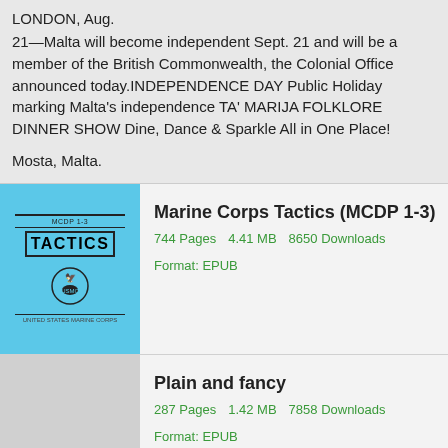LONDON, Aug.
21—Malta will become independent Sept. 21 and will be a member of the British Commonwealth, the Colonial Office announced today.INDEPENDENCE DAY Public Holiday marking Malta's independence TA' MARIJA FOLKLORE DINNER SHOW Dine, Dance & Sparkle All in One Place!
Mosta, Malta.
[Figure (illustration): Blue cover of Marine Corps Tactics (MCDP 1-3) book]
Marine Corps Tactics (MCDP 1-3)
744 Pages    4.41 MB    8650 Downloads    Format: EPUB
[Figure (illustration): Gray cover of Plain and fancy book]
Plain and fancy
287 Pages    1.42 MB    7858 Downloads    Format: EPUB